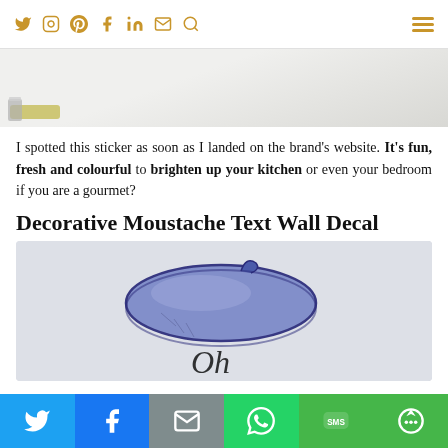Social media icons: Twitter, Instagram, Pinterest, Facebook, LinkedIn, Email, Search, Menu
[Figure (photo): Top portion of a bathroom scene with soap dish and white tiles, partially cropped]
I spotted this sticker as soon as I landed on the brand's website. It's fun, fresh and colourful to brighten up your kitchen or even your bedroom if you are a gourmet?
Decorative Moustache Text Wall Decal
[Figure (photo): Photo of a decorative blue moustache wall decal on a light wall, with cursive text 'Oh' partially visible below]
Share buttons: Twitter, Facebook, Email, WhatsApp, SMS, More